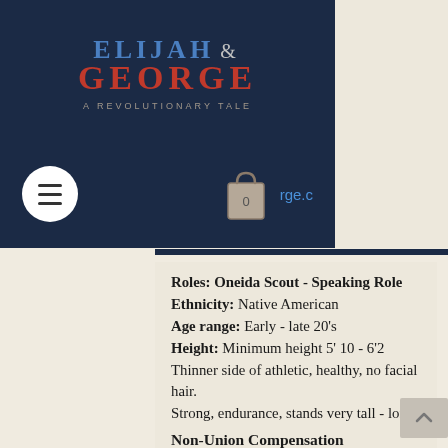ELIJAH & GEORGE — A REVOLUTIONARY TALE
[Figure (screenshot): Website header with dark navy background, 'ELIJAH & GEORGE / A REVOLUTIONARY TALE' title, hamburger menu icon on left, shopping bag icon with 0 count and partial URL 'rge.c' on right]
Roles: Oneida Scout - Speaking Role
Ethnicity: Native American
Age range: Early - late 20's
Height: Minimum height 5' 10 - 6'2
Thinner side of athletic, healthy, no facial hair.
Strong, endurance, stands very tall - long hair.
Professional acting experience. Feature films or series preferred.
Non-Union Compensation